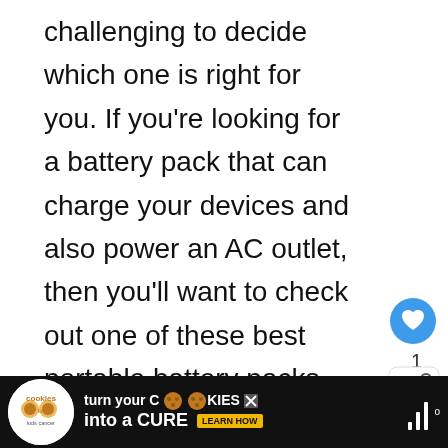challenging to decide which one is right for you. If you're looking for a battery pack that can charge your devices and also power an AC outlet, then you'll want to check out one of these best portable battery packs you can buy:
ADVERTISEMENT
[Figure (screenshot): Heart/like button (blue circle with heart icon), count of 1, and share button]
[Figure (infographic): What's Next callout with image of black battery pack and text: Best USB-C Battery Pack...]
[Figure (infographic): Bottom advertisement bar: cookies for kids cancer - turn your COOKIES into a CURE LEARN HOW, with weather widget showing bars and degree symbol]